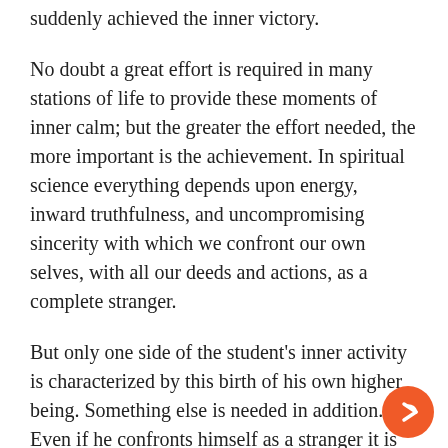suddenly achieved the inner victory.
No doubt a great effort is required in many stations of life to provide these moments of inner calm; but the greater the effort needed, the more important is the achievement. In spiritual science everything depends upon energy, inward truthfulness, and uncompromising sincerity with which we confront our own selves, with all our deeds and actions, as a complete stranger.
But only one side of the student's inner activity is characterized by this birth of his own higher being. Something else is needed in addition. Even if he confronts himself as a stranger it is only himself that he contemplates; he looks on those experiences and actions with which he is connected through his particular station of life. He must now disengage himself from it and rise beyond to a purely human level, which no longer has anything to do with his own special situation but must